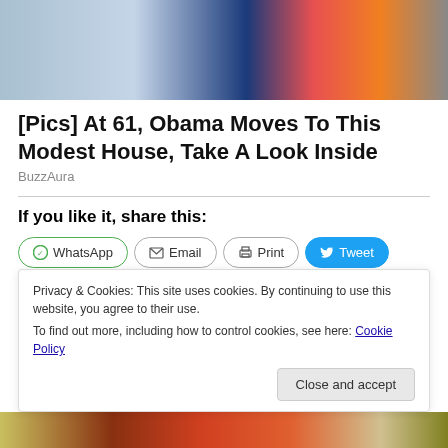[Figure (photo): Partial photo showing two people, one in a blue swimsuit with orange trim and the other in a blue checked shirt, with an orange/yellow surface in the background.]
[Pics] At 61, Obama Moves To This Modest House, Take A Look Inside
BuzzAura
If you like it, share this:
WhatsApp  Email  Print  Tweet  Save  Share
Privacy & Cookies: This site uses cookies. By continuing to use this website, you agree to their use.
To find out more, including how to control cookies, see here: Cookie Policy
Close and accept
[Figure (photo): Partial row of thumbnail images at the bottom of the page, partially obscured by the cookie banner.]